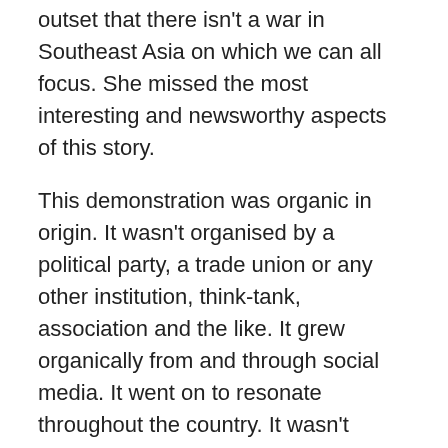outset that there isn't a war in Southeast Asia on which we can all focus. She missed the most interesting and newsworthy aspects of this story.
This demonstration was organic in origin. It wasn't organised by a political party, a trade union or any other institution, think-tank, association and the like. It grew organically from and through social media. It went on to resonate throughout the country. It wasn't confined to the big cities. Marches occurred throughout all rural and regional centres. The MarchInMarch movement is a new phenomenon worthy of research and analysis by the media.
Not being driven by a single issue was one of the more newsworthy aspects of these demonstrations. Virtually all policy initiatives that have been presented by this